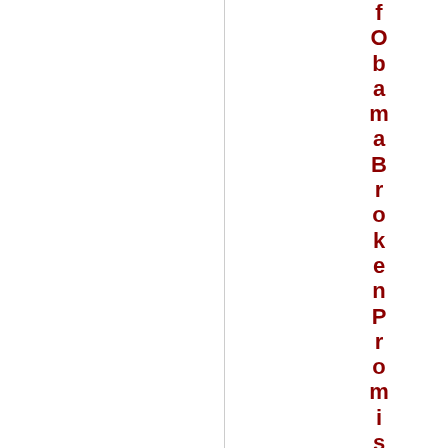f Obama Broken Promises from 2